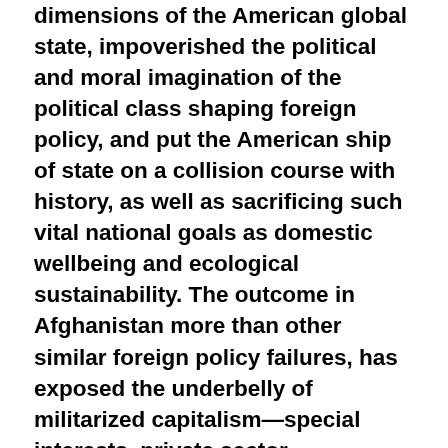dimensions of the American global state, impoverished the political and moral imagination of the political class shaping foreign policy, and put the American ship of state on a collision course with history, as well as sacrificing such vital national goals as domestic wellbeing and ecological sustainability. The outcome in Afghanistan more than other similar foreign policy failures, has exposed the underbelly of militarized capitalism—special interests, private sector paramilitary operations of for-profit organizations promote war-making for mercenaries, arms sales, well-funded NGOs engaged in a variety of humanitarian tasks helpful to 'winning the hearts and minds' of the resident population. Such a web of activities and goals underpin and sustain these 'benevolent' interventions enabling the delusional